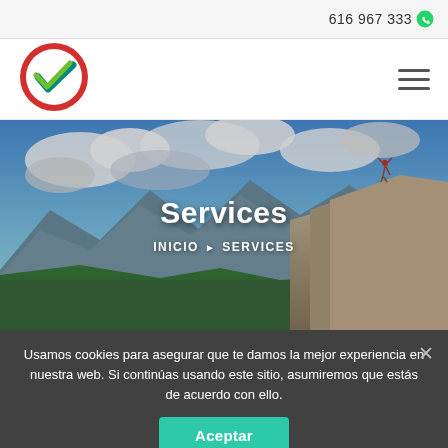616 967 333
[Figure (logo): Round red circle logo with green and teal checkmark inside]
Services
INICIO ▶ SERVICES
[Figure (photo): Mountain landscape with cloudy sky and person standing on rock with arms raised]
Usamos cookies para asegurar que te damos la mejor experiencia en nuestra web. Si continúas usando este sitio, asumiremos que estás de acuerdo con ello.
Aceptar
WE ARE HERE
We will Help you with